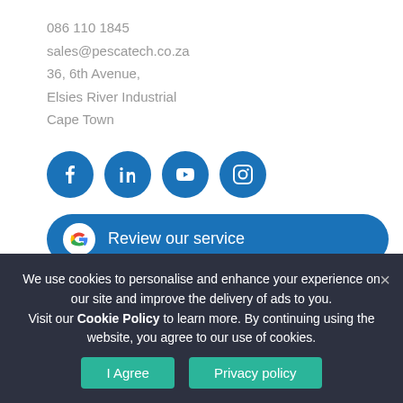086 110 1845
sales@pescatech.co.za
36, 6th Avenue,
Elsies River Industrial
Cape Town
[Figure (illustration): Four social media icons in blue circles: Facebook, LinkedIn, YouTube, Instagram]
[Figure (illustration): Blue rounded button with Google G logo and text 'Review our service']
GENERAL
We use cookies to personalise and enhance your experience on our site and improve the delivery of ads to you.
Visit our Cookie Policy to learn more. By continuing using the website, you agree to our use of cookies.
I Agree   Privacy policy